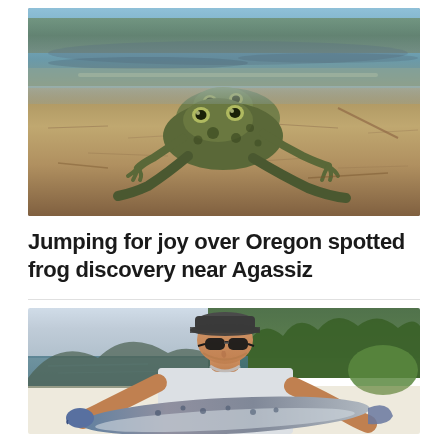[Figure (photo): Close-up photograph of Oregon spotted frogs partially submerged in shallow water over a sandy/muddy bottom, with forest-reflected water visible in the background]
Jumping for joy over Oregon spotted frog discovery near Agassiz
[Figure (photo): Man wearing a baseball cap and sunglasses holding a large fish, with a lake and forested hillside in the background]